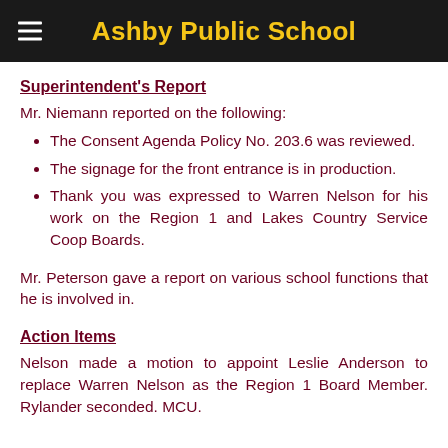Ashby Public School
Superintendent's Report
Mr. Niemann reported on the following:
The Consent Agenda Policy No. 203.6 was reviewed.
The signage for the front entrance is in production.
Thank you was expressed to Warren Nelson for his work on the Region 1 and Lakes Country Service Coop Boards.
Mr. Peterson gave a report on various school functions that he is involved in.
Action Items
Nelson made a motion to appoint Leslie Anderson to replace Warren Nelson as the Region 1 Board Member. Rylander seconded. MCU.